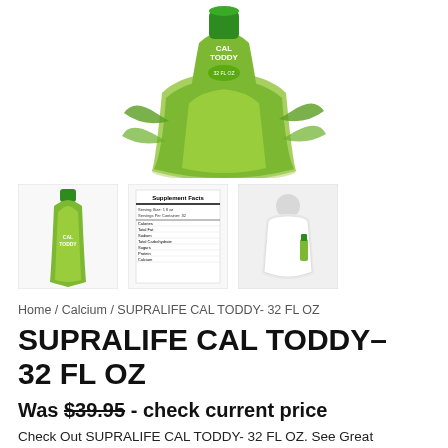[Figure (photo): Main product image of SUPRALIFE CAL TODDY 32 FL OZ green bottle, bottom/side view with green leaves decoration]
[Figure (photo): Thumbnail 1: Full bottle of SUPRALIFE CAL TODDY with green cap]
[Figure (photo): Thumbnail 2: Supplement Facts label panel]
[Figure (photo): Thumbnail 3: Person wearing white vest holding the bottle]
Home / Calcium / SUPRALIFE CAL TODDY- 32 FL OZ
SUPRALIFE CAL TODDY– 32 FL OZ
Was $39.95 - check current price
Check Out SUPRALIFE CAL TODDY- 32 FL OZ. See Great